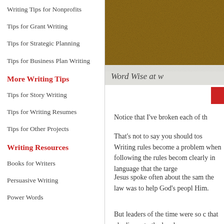Writing Tips for Nonprofits
Tips for Grant Writing
Tips for Strategic Planning
Tips for Business Plan Writing
More Writing Tips
Tips for Story Writing
Tips for Writing Resumes
Tips for Other Projects
Writing Resources
Books for Writers
Persuasive Writing
Power Words
[Figure (photo): Textured brown background image with partial banner text reading 'Word Wise at w']
Notice that I've broken each of th
That's not to say you should tos... Writing rules become a problem when following the rules becom clearly in language that the targe
Jesus spoke often about the sam the law was to help God's peopl Him.
But leaders of the time were so c that obedience to the law beca